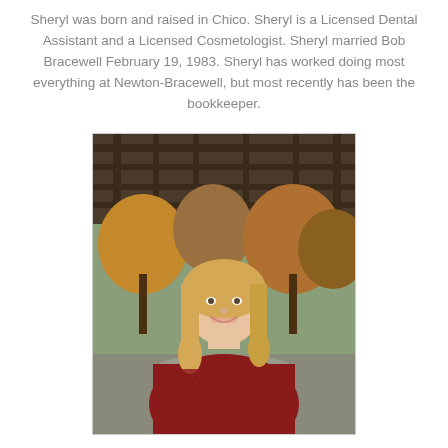Sheryl was born and raised in Chico. Sheryl is a Licensed Dental Assistant and a Licensed Cosmetologist. Sheryl married Bob Bracewell February 19, 1983. Sheryl has worked doing most everything at Newton-Bracewell, but most recently has been the bookkeeper.
[Figure (photo): Portrait photo of a smiling blonde woman wearing a red cable-knit sweater, photographed outdoors with trees and a wooden structure in the background.]